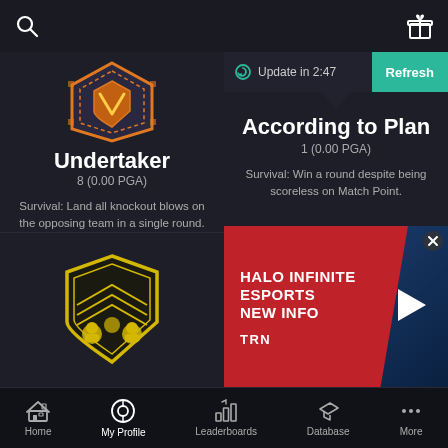Search | Gift
[Figure (illustration): Orange hexagonal badge with shield design for Undertaker achievement]
Undertaker
8 (0.00 PGA)
Survival: Land all knockout blows on the opposing team in a single round.
Update in 2:47
Refresh
According to Plan
1 (0.00 PGA)
Survival: Win a round despite being scoreless on Match Point.
[Figure (illustration): Yellow and black heraldic shield with lions emblem]
[Figure (infographic): HALO INFINITE ESPORTS NEW INFO advertisement banner with TRN logo and play button]
Home | My Profile | Leaderboards | Database | More